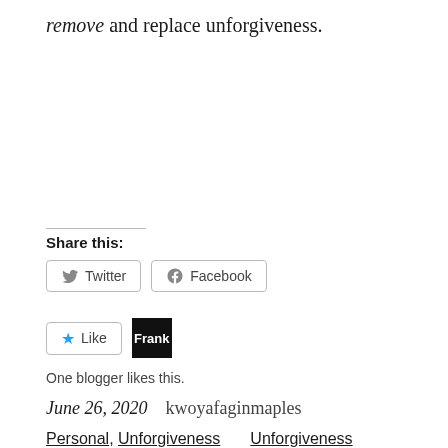remove and replace unforgiveness.
Share this:
Twitter  Facebook
Like  Frank
One blogger likes this.
June 26, 2020    kwoyafaginmaples
Personal, Unforgiveness    Unforgiveness